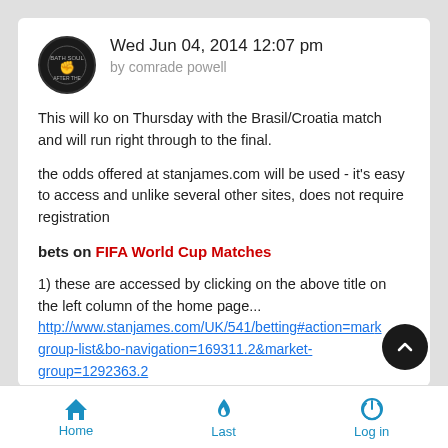Wed Jun 04, 2014 12:07 pm by comrade powell
This will ko on Thursday with the Brasil/Croatia match and will run right through to the final.
the odds offered at stanjames.com will be used - it's easy to access and unlike several other sites, does not require registration
bets on FIFA World Cup Matches
1) these are accessed by clicking on the above title on the left column of the home page... http://www.stanjames.com/UK/541/betting#action=market-group-list&bo-navigation=169311.2&market-group=1292363.2
Home  Last  Log in